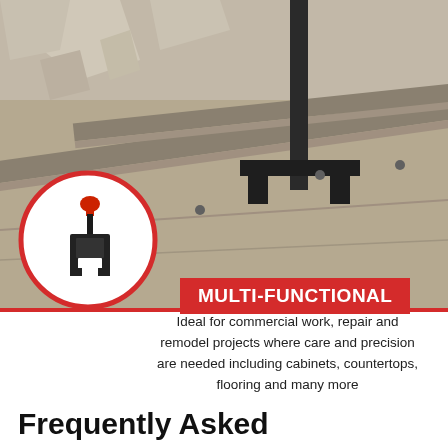[Figure (photo): Product photo showing a tile leveling spacer tool placed on floor tiling/rail surface with concrete background. A circular inset shows a close-up of the black clip component with red cap.]
MULTI-FUNCTIONAL
Ideal for commercial work, repair and remodel projects where care and precision are needed including cabinets, countertops, flooring and many more
Frequently Asked